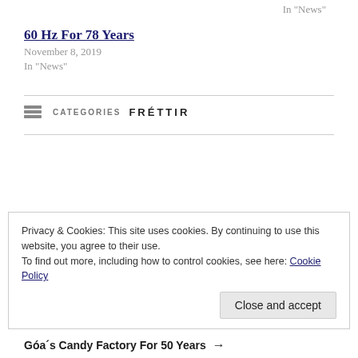In "News"
60 Hz For 78 Years
November 8, 2019
In "News"
CATEGORIES: FRÉTTIR
Privacy & Cookies: This site uses cookies. By continuing to use this website, you agree to their use.
To find out more, including how to control cookies, see here: Cookie Policy
Góa´s Candy Factory For 50 Years →